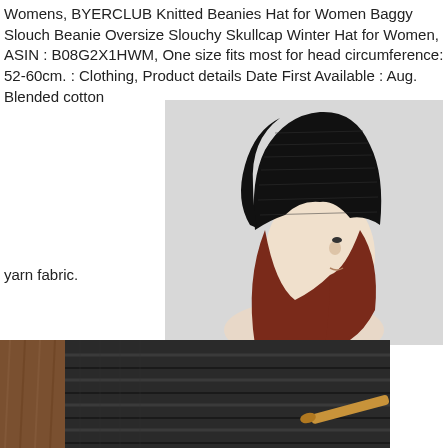Womens, BYERCLUB Knitted Beanies Hat for Women Baggy Slouch Beanie Oversize Slouchy Skullcap Winter Hat for Women, ASIN : B08G2X1HWM, One size fits most for head circumference: 52-60cm. : Clothing, Product details Date First Available : Aug. Blended cotton
[Figure (photo): A mannequin head wearing a black chunky knitted slouchy beanie hat, shown in profile view against a light grey background. The model has long reddish-brown wavy hair.]
yarn fabric.
[Figure (photo): Close-up of a dark brown/black chunky knitted fabric texture, showing ribbed knitting pattern, with a wooden knitting needle or crochet hook visible at the bottom right.]